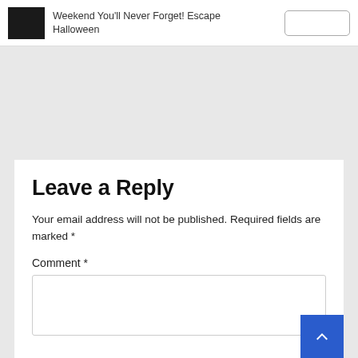[Figure (screenshot): Top navigation bar with thumbnail image, text 'Weekend You'll Never Forget! Escape Halloween', and a button outline on the right]
[Figure (screenshot): Small scroll-up chevron button in white card at top left]
Leave a Reply
Your email address will not be published. Required fields are marked *
Comment *
[Figure (screenshot): Empty comment text area input box]
[Figure (screenshot): Blue scroll-to-top button with upward chevron in bottom right corner]